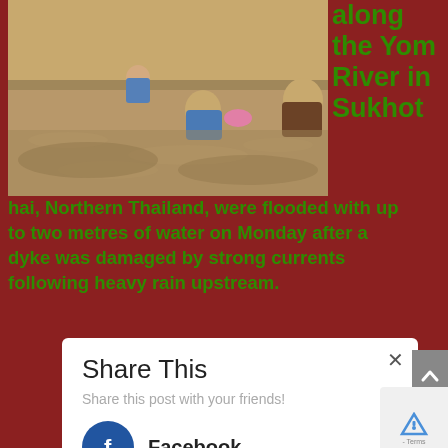[Figure (photo): Two people wading through brown floodwaters, one carrying a pink object, flood scene in Thailand]
along the Yom River in Sukhot
hai, Northern Thailand, were flooded with up to two metres of water on Monday after a dyke was damaged by strong currents following heavy rain upstream.
Share This
Share this post with your friends!
Facebook
Twitter